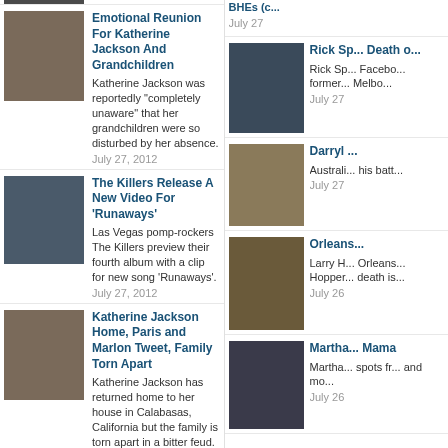July 27, 2012 [top item left col, truncated]
Emotional Reunion For Katherine Jackson And Grandchildren — Katherine Jackson was reportedly "completely unaware" that her grandchildren were so disturbed by her absence. July 27, 2012
The Killers Release A New Video For 'Runaways' — Las Vegas pomp-rockers The Killers preview their fourth album with a clip for new song 'Runaways'. July 27, 2012
Katherine Jackson Home, Paris and Marlon Tweet, Family Torn Apart — Katherine Jackson has returned home to her house in Calabasas, California but the family is torn apart in a bitter feud. July 27, 2012
Crystal Castles Sneak Out New Track 'Plague' — Canadian electro-noise outfit Crystal Castles have posted up a new song online before their September album. July 26, 2012
Rick Sp... Death o... — Rick Sp... Facebo... former... Melbo... July 27
Darryl ... — Australi... his batt... July 27
Orleans... — Larry H... Orleans... Hopper... death is... July 26
Martha... Mama — Martha... spots fr... and mo... July 26